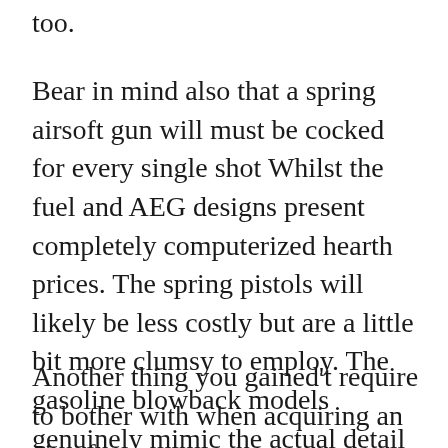too.
Bear in mind also that a spring airsoft gun will must be cocked for every single shot Whilst the fuel and AEG designs present completely computerized hearth prices. The spring pistols will likely be less costly but are a little bit more clumsy to employ. The gasoline blowback models genuinely mimic the actual detail – particularly when the topslide flies backwards after Just about every shot.
Another thing you gained't require to bother with when acquiring an airsoft handgun is choosing a type of ammo.